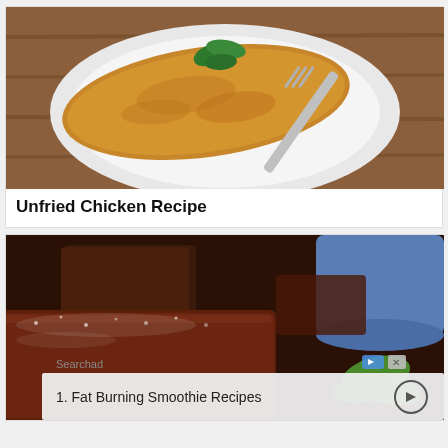[Figure (photo): Breaded unfried chicken piece on a white plate with a fork and fresh basil garnish, shot from above on a wooden surface]
Unfried Chicken Recipe
[Figure (photo): Close-up of dark chocolate brownie slices with powdered sugar and mint leaves, blue mug in background, with an ad overlay for Fat Burning Smoothie Recipes]
1.  Fat Burning Smoothie Recipes